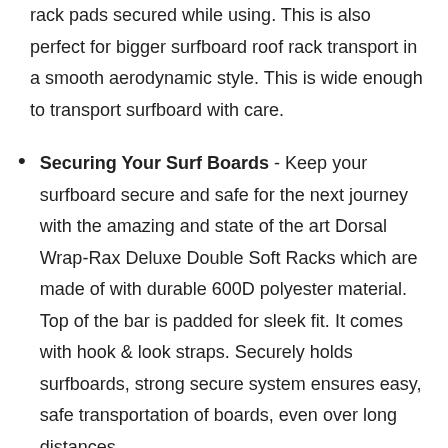rack pads secured while using. This is also perfect for bigger surfboard roof rack transport in a smooth aerodynamic style. This is wide enough to transport surfboard with care.
Securing Your Surf Boards - Keep your surfboard secure and safe for the next journey with the amazing and state of the art Dorsal Wrap-Rax Deluxe Double Soft Racks which are made of with durable 600D polyester material. Top of the bar is padded for sleek fit. It comes with hook & look straps. Securely holds surfboards, strong secure system ensures easy, safe transportation of boards, even over long distances.